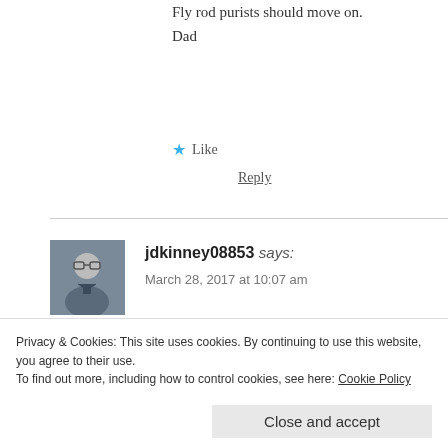Fly rod purists should move on.
Dad
★ Like
Reply
jdkinney08853 says:
March 28, 2017 at 10:07 am
Might be the same place laura visited when we stopped
If you are in that vicinity, lagoons near the internationa mostly of the smaller variety to 30 or 40 pounds.
Privacy & Cookies: This site uses cookies. By continuing to use this website, you agree to their use.
To find out more, including how to control cookies, see here: Cookie Policy
Close and accept